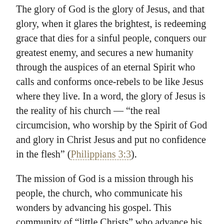The glory of God is the glory of Jesus, and that glory, when it glares the brightest, is redeeming grace that dies for a sinful people, conquers our greatest enemy, and secures a new humanity through the auspices of an eternal Spirit who calls and conforms once-rebels to be like Jesus where they live. In a word, the glory of Jesus is the reality of his church — “the real circumcision, who worship by the Spirit of God and glory in Christ Jesus and put no confidence in the flesh” (Philippians 3:3).
The mission of God is a mission through his people, the church, who communicate his wonders by advancing his gospel. This community of “little Christs” who advance his gospel, as we’ve seen, do